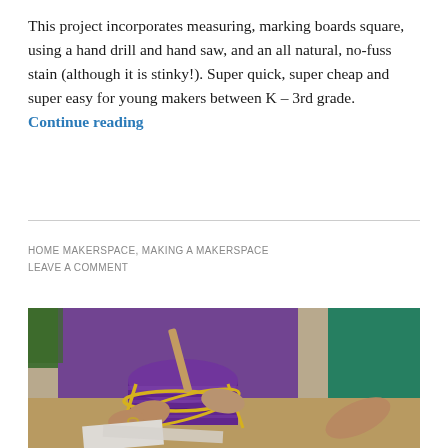This project incorporates measuring, marking boards square, using a hand drill and hand saw, and an all natural, no-fuss stain (although it is stinky!). Super quick, super cheap and super easy for young makers between K – 3rd grade. Continue reading
HOME MAKERSPACE, MAKING A MAKERSPACE
LEAVE A COMMENT
[Figure (photo): Two children working with a purple cylindrical object (possibly a can or container) wrapped with yellow rubber bands, using a stick or pencil. One child wears a purple shirt, the other a green shirt. A craft/makerspace activity.]